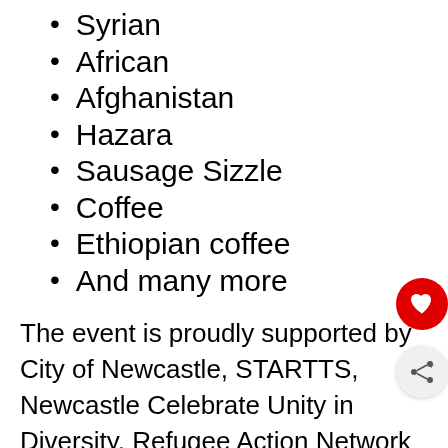Syrian
African
Afghanistan
Hazara
Sausage Sizzle
Coffee
Ethiopian coffee
And many more
The event is proudly supported by City of Newcastle, STARTTS, Newcastle Celebrate Unity in Diversity, Refugee Action Network Newcastle, Hunter Community Languages School, Refugees and Partners, NSS and the